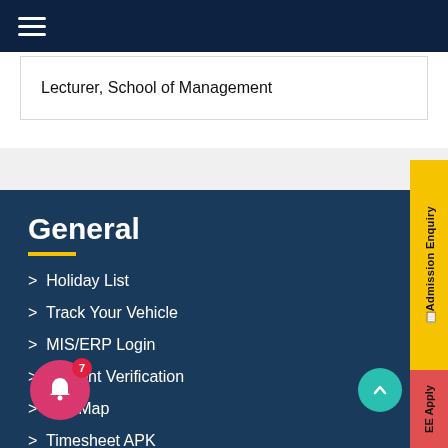Lecturer, School of Management
General
> Holiday List
> Track Your Vehicle
> MIS/ERP Login
> Student Verification
> Site Map
> Timesheet APK
> CUTM Courseware APK